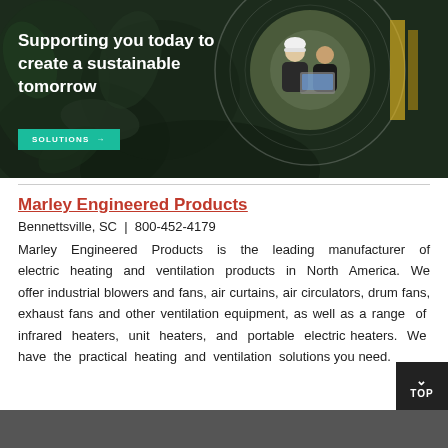[Figure (photo): Website banner with dark green background showing foliage, circular framed photo of two workers (one in hard hat) looking at a laptop, white bold text 'Supporting you today to create a sustainable tomorrow', and a teal 'SOLUTIONS →' button.]
Marley Engineered Products
Bennettsville, SC  |  800-452-4179
Marley Engineered Products is the leading manufacturer of electric heating and ventilation products in North America. We offer industrial blowers and fans, air curtains, air circulators, drum fans, exhaust fans and other ventilation equipment, as well as a range of infrared heaters, unit heaters, and portable electric heaters. We have the practical heating and ventilation solutions you need.